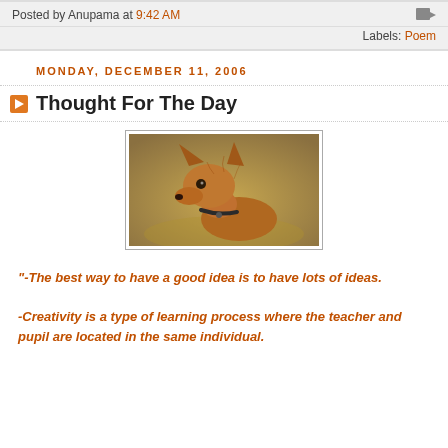Posted by Anupama at 9:42 AM
Labels: Poem
MONDAY, DECEMBER 11, 2006
Thought For The Day
[Figure (photo): A small brown dog (chihuahua or similar) wearing a collar, photographed in profile against a warm blurred background.]
"-The best way to have a good idea is to have lots of ideas.

-Creativity is a type of learning process where the teacher and pupil are located in the same individual.